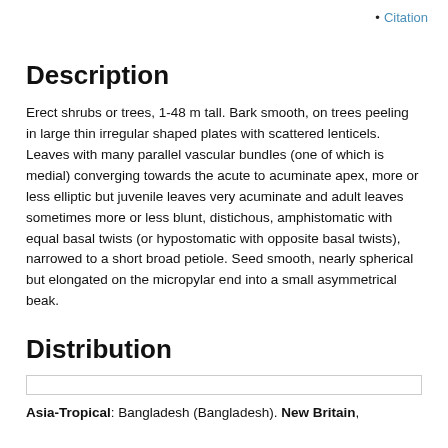• Citation
Description
Erect shrubs or trees, 1-48 m tall. Bark smooth, on trees peeling in large thin irregular shaped plates with scattered lenticels. Leaves with many parallel vascular bundles (one of which is medial) converging towards the acute to acuminate apex, more or less elliptic but juvenile leaves very acuminate and adult leaves sometimes more or less blunt, distichous, amphistomatic with equal basal twists (or hypostomatic with opposite basal twists), narrowed to a short broad petiole. Seed smooth, nearly spherical but elongated on the micropylar end into a small asymmetrical beak.
Distribution
[Figure (other): Empty white box with border, likely a map placeholder]
Asia-Tropical: Bangladesh (Bangladesh), New Britain,